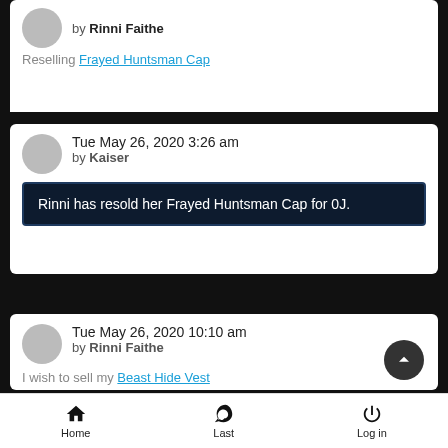by Rinni Faithe
Reselling Frayed Huntsman Cap
Tue May 26, 2020 3:26 am
by Kaiser
Rinni has resold her Frayed Huntsman Cap for 0J.
Tue May 26, 2020 10:10 am
by Rinni Faithe
I wish to sell my Beast Hide Vest
Home  Last  Log in